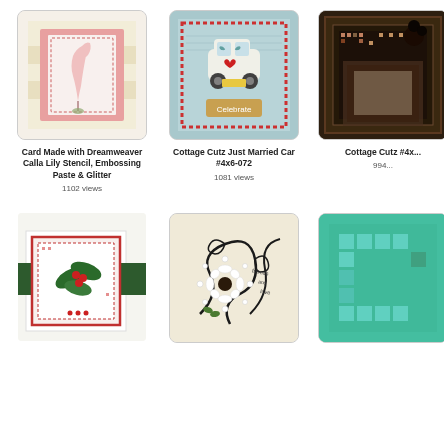[Figure (photo): Card made with pink calla lily stencil design on pink background paper]
Card Made with Dreamweaver Calla Lily Stencil, Embossing Paste & Glitter
1102 views
[Figure (photo): Cottage Cutz just married car with wedding couple on teal/blue patterned background]
Cottage Cutz Just Married Car #4x6-072
1081 views
[Figure (photo): Cottage Cutz card partially visible on right side, dark/brown tones]
Cottage Cutz #4x...
994...
[Figure (photo): Christmas card with holly leaves and berries cross-stitch design on white card]
[Figure (photo): Card with quilled white flowers and black swirl design]
[Figure (photo): Partially visible card with turquoise/teal background, right edge only]